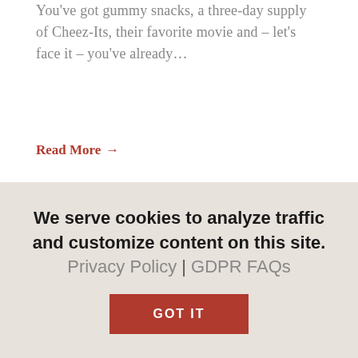You've got gummy snacks, a three-day supply of Cheez-Its, their favorite movie and – let's face it – you've already…
Read More →
[Figure (photo): A young child wearing a yellow sun hat looking through a magnifying glass, with plants in the background.]
We serve cookies to analyze traffic and customize content on this site. Privacy Policy | GDPR FAQs
GOT IT